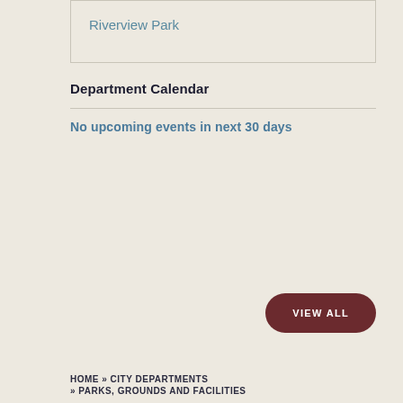| Riverview Park |
Department Calendar
No upcoming events in next 30 days
VIEW ALL
HOME » CITY DEPARTMENTS » PARKS, GROUNDS AND FACILITIES